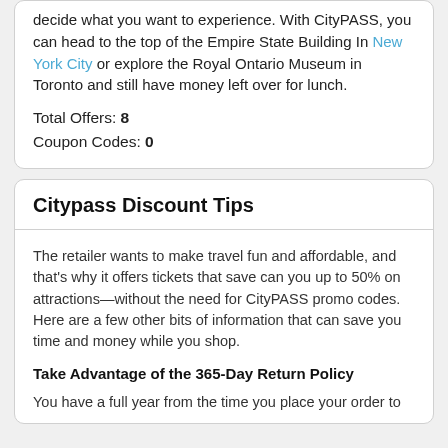decide what you want to experience. With CityPASS, you can head to the top of the Empire State Building In New York City or explore the Royal Ontario Museum in Toronto and still have money left over for lunch.
Total Offers: 8
Coupon Codes: 0
Citypass Discount Tips
The retailer wants to make travel fun and affordable, and that's why it offers tickets that save can you up to 50% on attractions—without the need for CityPASS promo codes. Here are a few other bits of information that can save you time and money while you shop.
Take Advantage of the 365-Day Return Policy
You have a full year from the time you place your order to